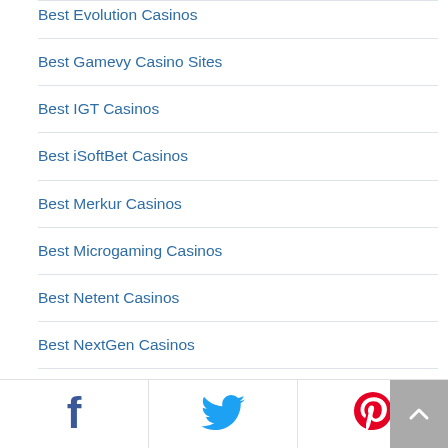Best Evolution Casinos
Best Gamevy Casino Sites
Best IGT Casinos
Best iSoftBet Casinos
Best Merkur Casinos
Best Microgaming Casinos
Best Netent Casinos
Best NextGen Casinos
Best Nolimit City Casinos
Best Novomatic Casinos
Best Nucleus Gaming Slots & Casinos
Social share icons: Facebook, Twitter, Pinterest